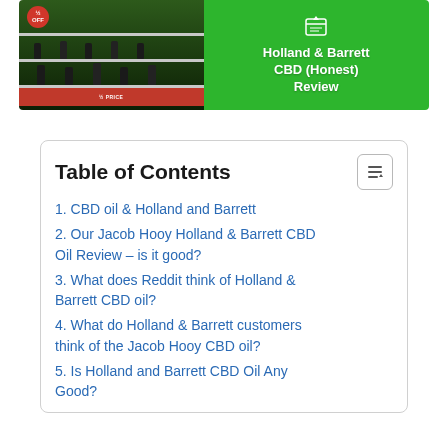[Figure (illustration): Banner image for Holland & Barrett CBD (Honest) Review article. Left half shows product bottles on shelves, right half is bright green with white bold text reading 'Holland & Barrett CBD (Honest) Review' and a small book/leaf icon at top.]
Table of Contents
1. CBD oil & Holland and Barrett
2. Our Jacob Hooy Holland & Barrett CBD Oil Review – is it good?
3. What does Reddit think of Holland & Barrett CBD oil?
4. What do Holland & Barrett customers think of the Jacob Hooy CBD oil?
5. Is Holland and Barrett CBD Oil Any Good?